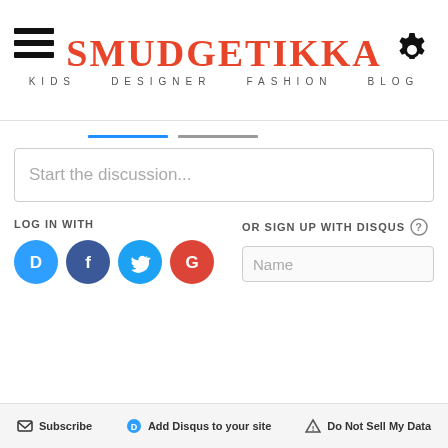SMUDGETIKKA KIDS DESIGNER FASHION BLOG
Start the discussion...
LOG IN WITH
OR SIGN UP WITH DISQUS
Name
Subscribe   Add Disqus to your site   Do Not Sell My Data